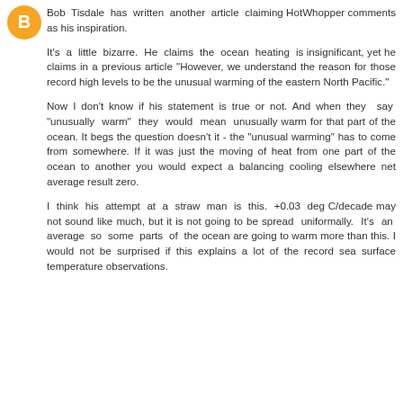[Figure (logo): Orange circular avatar/profile icon with letter B]
Bob Tisdale has written another article claiming HotWhopper comments as his inspiration.
It's a little bizarre. He claims the ocean heating is insignificant, yet he claims in a previous article "However, we understand the reason for those record high levels to be the unusual warming of the eastern North Pacific."
Now I don't know if his statement is true or not. And when they say "unusually warm" they would mean unusually warm for that part of the ocean. It begs the question doesn't it - the "unusual warming" has to come from somewhere. If it was just the moving of heat from one part of the ocean to another you would expect a balancing cooling elsewhere net average result zero.
I think his attempt at a straw man is this. +0.03 deg C/decade may not sound like much, but it is not going to be spread uniformally. It's an average so some parts of the ocean are going to warm more than this. I would not be surprised if this explains a lot of the record sea surface temperature observations.